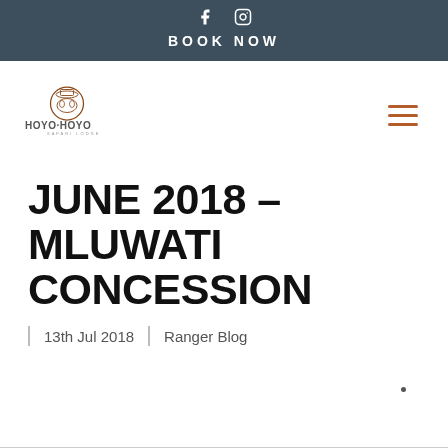BOOK NOW
[Figure (logo): Hoyo Hoyo Safari Lodge logo with circular emblem and stylized text]
JUNE 2018 – MLUWATI CONCESSION
13th Jul 2018  |  Ranger Blog